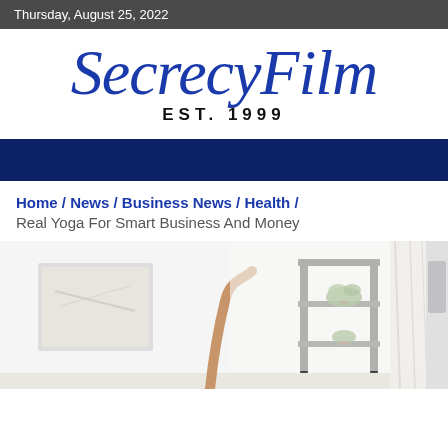Thursday, August 25, 2022
[Figure (logo): SecrecyFilm cursive script logo in blue, with EST. 1999 below in bold black capitals]
[Figure (other): Dark navy blue navigation bar]
Home / News / Business News / Health / Real Yoga For Smart Business And Money
[Figure (photo): Photo of a bright white room with a bookshelf holding plants, a person raising one arm (yoga pose), and sheer white curtains. Scrollbar visible on right side.]